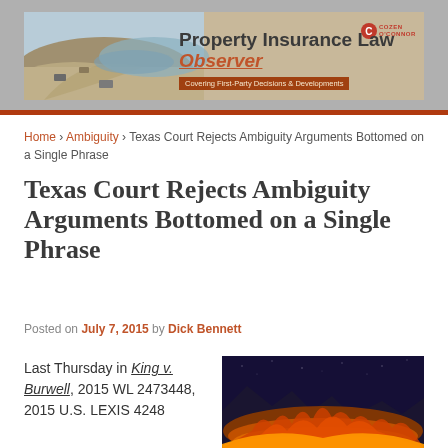[Figure (logo): Property Insurance Law Observer banner with aerial flood/landscape image and Cozen O'Connor logo. Title reads 'Property Insurance Law Observer' with subtitle 'Covering First-Party Decisions & Developments']
Home › Ambiguity › Texas Court Rejects Ambiguity Arguments Bottomed on a Single Phrase
Texas Court Rejects Ambiguity Arguments Bottomed on a Single Phrase
Posted on July 7, 2015 by Dick Bennett
Last Thursday in King v. Burwell, 2015 WL 2473448, 2015 U.S. LEXIS 4248
[Figure (photo): Wildfire or lava at night with mountains silhouetted against orange and red glow]